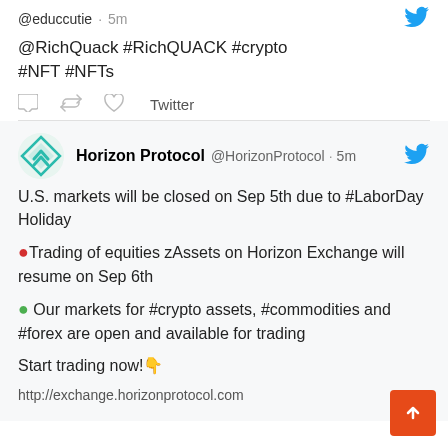@educcutie · 5m
@RichQuack #RichQUACK #crypto #NFT #NFTs
Twitter
Horizon Protocol @HorizonProtocol · 5m
U.S. markets will be closed on Sep 5th due to #LaborDay Holiday
🔴Trading of equities zAssets on Horizon Exchange will resume on Sep 6th
🟢 Our markets for #crypto assets, #commodities and #forex are open and available for trading
Start trading now!👇
http://exchange.horizonprotocol.com